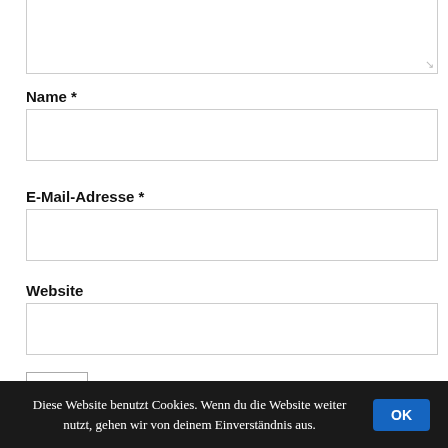[Figure (screenshot): Top portion of a textarea input field (comment box), cropped at top, with resize handle at bottom right]
Name *
[Figure (screenshot): Empty text input field for Name]
E-Mail-Adresse *
[Figure (screenshot): Empty text input field for E-Mail-Adresse]
Website
[Figure (screenshot): Empty text input field for Website]
[Figure (screenshot): CAPTCHA widget: empty input box followed by text '× fünf = 30' and a refresh/sync icon]
Diese Website benutzt Cookies. Wenn du die Website weiter nutzt, gehen wir von deinem Einverständnis aus.